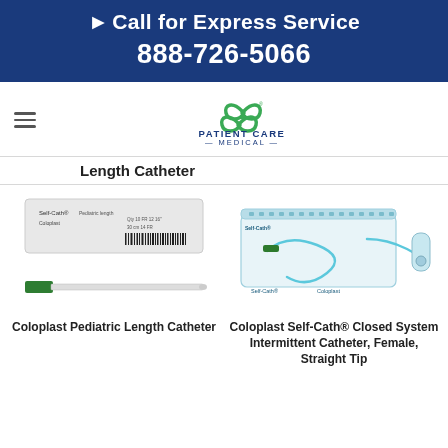► Call for Express Service
888-726-5066
[Figure (logo): Patient Care Medical logo with green cross/infinity symbol and company name]
Length Catheter
[Figure (photo): Coloplast Pediatric Length Catheter — packaged catheter above, unpackaged green-tipped white catheter below]
[Figure (photo): Coloplast Self-Cath Closed System Intermittent Catheter, Female, Straight Tip — teal/white closed system package]
Coloplast Pediatric Length Catheter
Coloplast Self-Cath® Closed System Intermittent Catheter, Female, Straight Tip